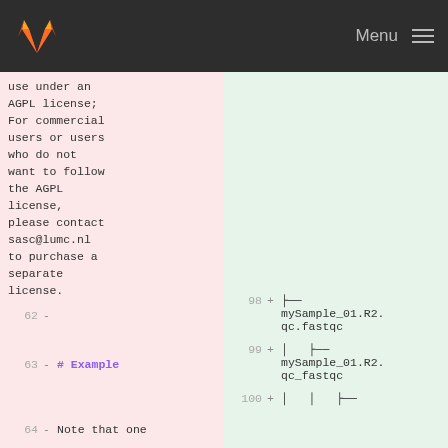GitLab Menu
use under an AGPL license; For commercial users or users who do not want to follow the AGPL license, please contact sasc@lumc.nl to purchase a separate license.
62 - (blank line) | 98 + ├── mySample_01.R2.qc.fastqc
63 - # Example | 99 + | ├── mySample_01.R2.qc_fastqc
64 - Note that one | 100 + | | ├──